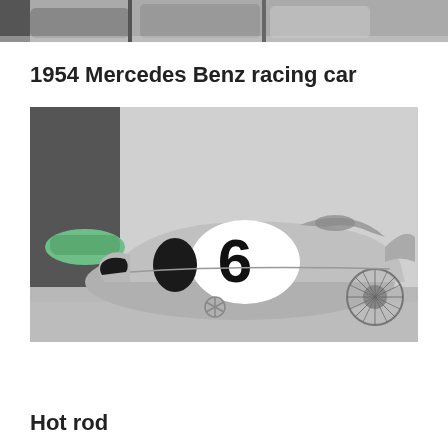[Figure (photo): Partial top strip showing cars in a showroom/museum, cropped at top of page]
1954 Mercedes Benz racing car
[Figure (photo): Black and white / silver-toned photo of a 1954 Mercedes Benz racing car with number 6 on the side, displayed in a museum setting]
Hot rod